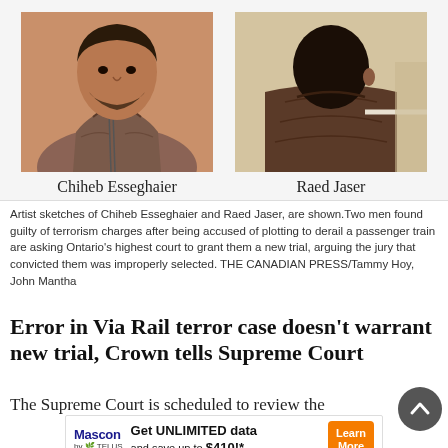[Figure (illustration): Two courtroom artist sketches side by side. Left: Chiheb Esseghaier, a man in a puffy jacket, viewed from front. Right: Raed Jaser, a man in a dark jacket, viewed from behind/side. Names labeled below each sketch.]
Artist sketches of Chiheb Esseghaier and Raed Jaser, are shown. Two men found guilty of terrorism charges after being accused of plotting to derail a passenger train are asking Ontario's highest court to grant them a new trial, arguing the jury that convicted them was improperly selected. THE CANADIAN PRESS/Tammy Hoy, John Mantha
Error in Via Rail terror case doesn't warrant new trial, Crown tells Supreme Court
The Supreme Court is scheduled to review the